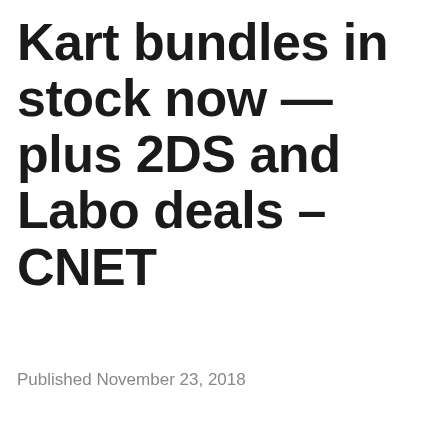Kart bundles in stock now — plus 2DS and Labo deals – CNET
Published November 23, 2018